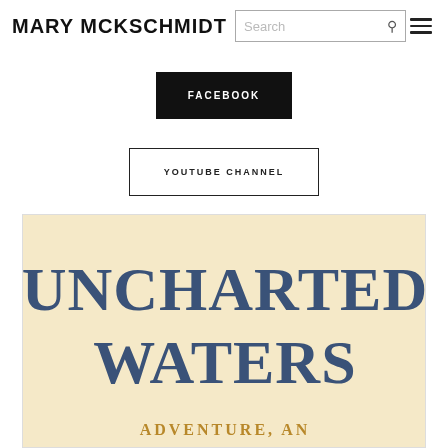MARY MCKSCHMIDT
FACEBOOK
YOUTUBE CHANNEL
[Figure (illustration): Book cover for 'Uncharted Waters' showing large serif title text in blue on a cream/beige background with subtitle text 'ADVENTURE, AND...' in gold at the bottom]